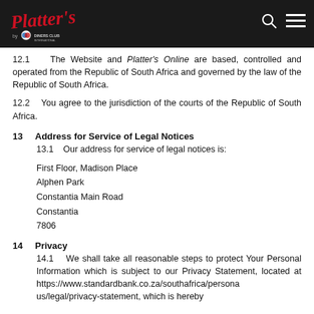Platter's Online - Header navigation bar
12.1    The Website and Platter's Online are based, controlled and operated from the Republic of South Africa and governed by the law of the Republic of South Africa.
12.2    You agree to the jurisdiction of the courts of the Republic of South Africa.
13    Address for Service of Legal Notices
13.1    Our address for service of legal notices is:
First Floor, Madison Place
Alphen Park
Constantia Main Road
Constantia
7806
14    Privacy
14.1    We shall take all reasonable steps to protect Your Personal Information which is subject to our Privacy Statement, located at https://www.standardbank.co.za/southafrica/personal/legal/privacy-statement, which is hereby